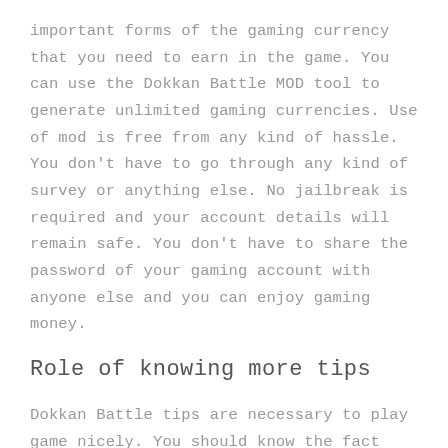important forms of the gaming currency that you need to earn in the game. You can use the Dokkan Battle MOD tool to generate unlimited gaming currencies. Use of mod is free from any kind of hassle. You don't have to go through any kind of survey or anything else. No jailbreak is required and your account details will remain safe. You don't have to share the password of your gaming account with anyone else and you can enjoy gaming money.
Role of knowing more tips
Dokkan Battle tips are necessary to play game nicely. You should know the fact that even after playing the game there are many chances you may not be able to get powerful performance. This is so because you should know about digital gaming and smart tricks. A lot of tips you can find here Dokkan Battle Game